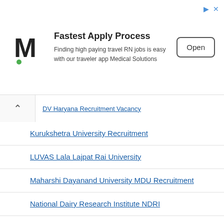[Figure (screenshot): Advertisement banner for Medical Solutions job app. Logo: stylized M with green dot. Title: Fastest Apply Process. Text: Finding high paying travel RN jobs is easy with our traveler app Medical Solutions. Button: Open.]
DV Haryana Recruitment Vacancy
Kurukshetra University Recruitment
LUVAS Lala Lajpat Rai University
Maharshi Dayanand University MDU Recruitment
National Dairy Research Institute NDRI
NBRC Recruitment 2021
NHM Haryana Recruitment 2021
NPTI Faridabad Recruitment